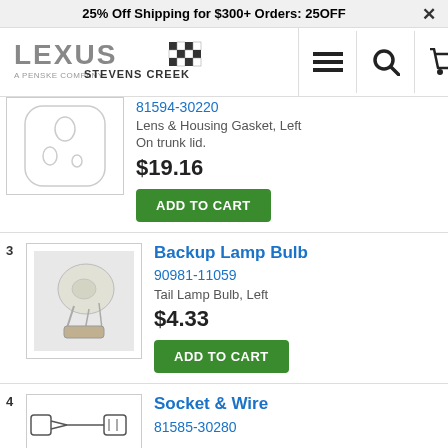25% Off Shipping for $300+ Orders: 25OFF
[Figure (logo): Lexus Stevens Creek - A Penske Company logo with navigation icons (hamburger menu, search, cart)]
[Figure (photo): Partial product image - Lens & Housing Gasket diagram]
81594-30220
Lens & Housing Gasket, Left
On trunk lid.
$19.16
ADD TO CART
3
[Figure (photo): Backup Lamp Bulb product photo]
Backup Lamp Bulb
90981-11059
Tail Lamp Bulb, Left
$4.33
ADD TO CART
4
[Figure (illustration): Socket & Wire product diagram]
Socket & Wire
81585-30280